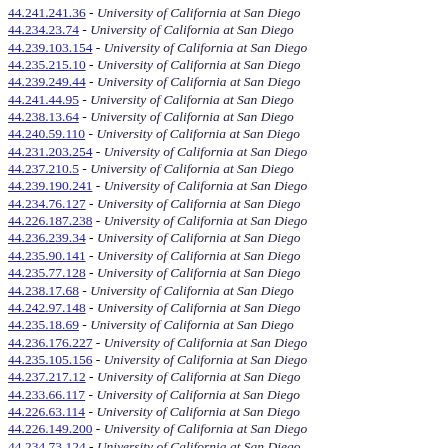44.241.241.36 - University of California at San Diego
44.234.23.74 - University of California at San Diego
44.239.103.154 - University of California at San Diego
44.235.215.10 - University of California at San Diego
44.239.249.44 - University of California at San Diego
44.241.44.95 - University of California at San Diego
44.238.13.64 - University of California at San Diego
44.240.59.110 - University of California at San Diego
44.231.203.254 - University of California at San Diego
44.237.210.5 - University of California at San Diego
44.239.190.241 - University of California at San Diego
44.234.76.127 - University of California at San Diego
44.226.187.238 - University of California at San Diego
44.236.239.34 - University of California at San Diego
44.235.90.141 - University of California at San Diego
44.235.77.128 - University of California at San Diego
44.238.17.68 - University of California at San Diego
44.242.97.148 - University of California at San Diego
44.235.18.69 - University of California at San Diego
44.236.176.227 - University of California at San Diego
44.235.105.156 - University of California at San Diego
44.237.217.12 - University of California at San Diego
44.233.66.117 - University of California at San Diego
44.226.63.114 - University of California at San Diego
44.226.149.200 - University of California at San Diego
44.234.73.124 - University of California at San Diego
44.230.201.252 - University of California at San Diego
44.234.62.113 - University of California at San Diego
44.226.217.12 - University of California at San Diego
44.231.244.39 - University of California at San Diego